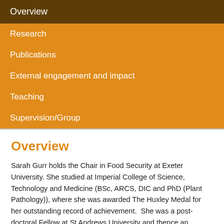Overview
Research
Publications
External engagement and impact
Teaching
Supervision/Group
Overview
Sarah Gurr holds the Chair in Food Security at Exeter University. She studied at Imperial College of Science, Technology and Medicine (BSc, ARCS, DIC and PhD (Plant Pathology)), where she was awarded The Huxley Medal for her outstanding record of achievement.  She was a post-doctoral Fellow at St Andrews University and thence an independent Royal Society University Research Fellow. She was appointed, as Lecturer, then promoted to Reader and Professor at Oxford University (and Fellow of Somerville